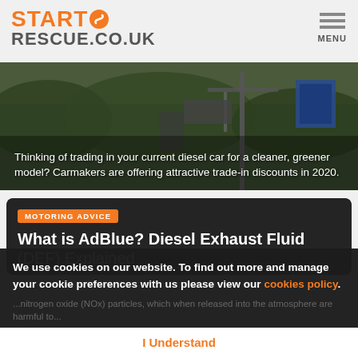[Figure (logo): Start Rescue .co.uk logo in orange and grey with circular S icon]
[Figure (photo): Industrial crane or mining equipment against green hillside background]
Thinking of trading in your current diesel car for a cleaner, greener model? Carmakers are offering attractive trade-in discounts in 2020.
[Figure (photo): Dark background article card image]
MOTORING ADVICE
What is AdBlue? Diesel Exhaust Fluid (DEF) Explained
We use cookies on our website. To find out more and manage your cookie preferences with us please view our cookies policy.
...nitrogen oxide (NOx) particles, which when released into the atmosphere are harmful to...
I Understand